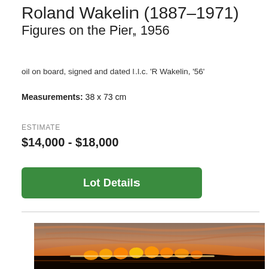Roland Wakelin (1887–1971)
Figures on the Pier, 1956
oil on board, signed and dated l.l.c. 'R Wakelin, '56'
Measurements: 38 x 73 cm
ESTIMATE
$14,000 - $18,000
Lot Details
[Figure (photo): Painting showing figures on a pier at sunset/dusk with orange light reflecting on water and dark silhouettes]